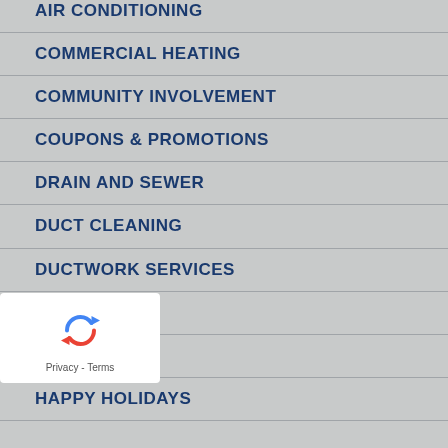AIR CONDITIONING
COMMERCIAL HEATING
COMMUNITY INVOLVEMENT
COUPONS & PROMOTIONS
DRAIN AND SEWER
DUCT CLEANING
DUCTWORK SERVICES
GENERATORS
GREEN
HAPPY HOLIDAYS